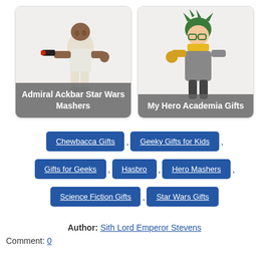[Figure (illustration): Admiral Ackbar Star Wars Mashers action figure toy on white background]
Admiral Ackbar Star Wars Mashers
[Figure (illustration): My Hero Academia anime figure character with green hair on white background]
My Hero Academia Gifts
Chewbacca Gifts
Geeky Gifts for Kids
Gifts for Geeks
Hasbro
Hero Mashers
Science Fiction Gifts
Star Wars Gifts
Author: Sith Lord Emperor Stevens
Comment: 0